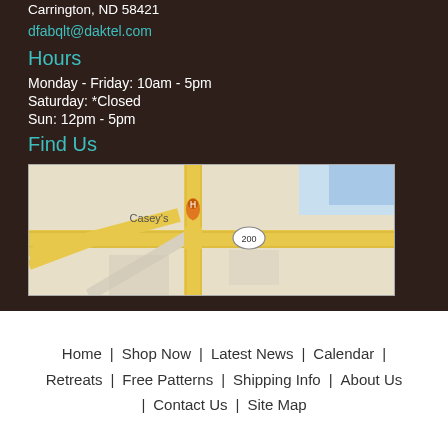Carrington, ND 58421
dfabqlt@daktel.com
Hours
Monday - Friday: 10am - 5pm
Saturday: *Closed
Sun: 12pm - 5pm
Find Us
[Figure (map): A street map showing the location near Casey's with route 200 visible]
Home | Shop Now | Latest News | Calendar | Retreats | Free Patterns | Shipping Info | About Us | Contact Us | Site Map